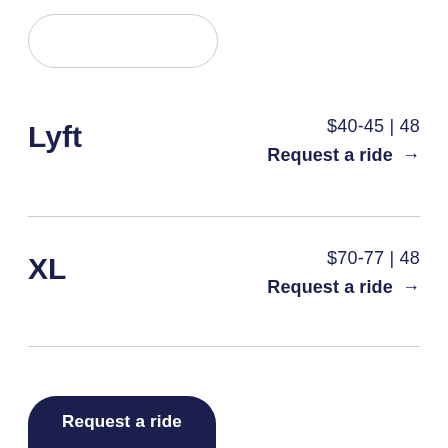[Figure (other): A rounded pill/capsule shaped outline button at the top of the screen]
Lyft
$40-45 | 48
Request a ride →
XL
$70-77 | 48
Request a ride →
Request a ride